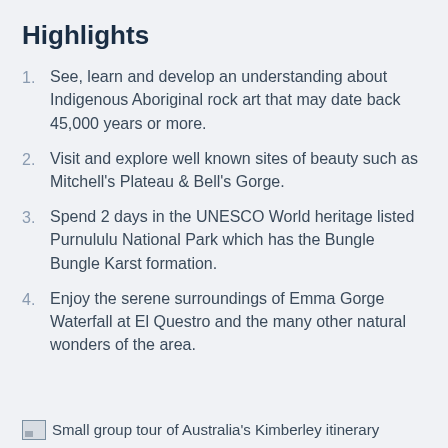Highlights
See, learn and develop an understanding about Indigenous Aboriginal rock art that may date back 45,000 years or more.
Visit and explore well known sites of beauty such as Mitchell's Plateau & Bell's Gorge.
Spend 2 days in the UNESCO World heritage listed Purnululu National Park which has the Bungle Bungle Karst formation.
Enjoy the serene surroundings of Emma Gorge Waterfall at El Questro and the many other natural wonders of the area.
Small group tour of Australia's Kimberley itinerary